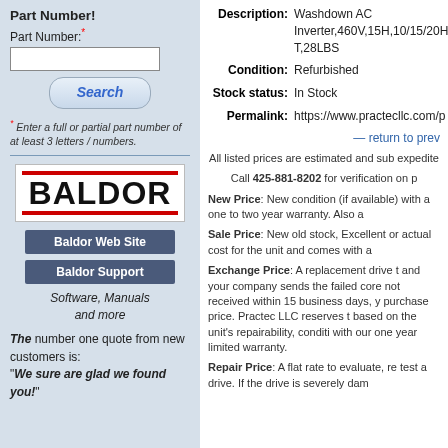Part Number!
Part Number:*
Search
* Enter a full or partial part number of at least 3 letters / numbers.
[Figure (logo): Baldor company logo with red lines above and below the text BALDOR]
Baldor Web Site
Baldor Support
Software, Manuals and more
The number one quote from new customers is: "We sure are glad we found you!"
Description: Washdown AC Inverter,460V,15H,10/15/20H T,28LBS
Condition: Refurbished
Stock status: In Stock
Permalink: https://www.practecllc.com/p
— return to prev
All listed prices are estimated and sub expedite
Call 425-881-8202 for verification on p
New Price: New condition (if available) with a one to two year warranty. Also a
Sale Price: New old stock, Excellent or actual cost for the unit and comes with a
Exchange Price: A replacement drive t and your company sends the failed core not received within 15 business days, y purchase price. Practec LLC reserves t based on the unit's repairability, conditi with our one year limited warranty.
Repair Price: A flat rate to evaluate, re test a drive. If the drive is severely dam